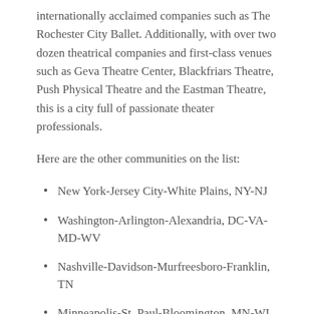internationally acclaimed companies such as The Rochester City Ballet. Additionally, with over two dozen theatrical companies and first-class venues such as Geva Theatre Center, Blackfriars Theatre, Push Physical Theatre and the Eastman Theatre, this is a city full of passionate theater professionals.
Here are the other communities on the list:
New York-Jersey City-White Plains, NY-NJ
Washington-Arlington-Alexandria, DC-VA-MD-WV
Nashville-Davidson-Murfreesboro-Franklin, TN
Minneapolis-St. Paul-Bloomington, MN-WI
Los Angeles-Long Beach-Glendale, CA
Boston, MA